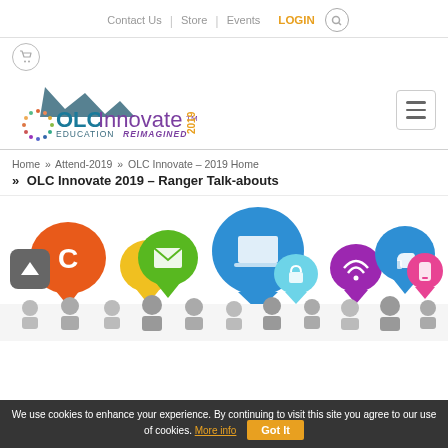Contact Us | Store | Events | LOGIN
[Figure (logo): OLC Innovate 2019 - Education Reimagined logo with mountain silhouette and colorful dotted circle]
Home » Attend-2019 » OLC Innovate – 2019 Home
» OLC Innovate 2019 – Ranger Talk-abouts
[Figure (illustration): Illustration of colorful speech bubble icons (orange, yellow, green, blue, purple, grey) with social/tech symbols, and group of people below]
We use cookies to enhance your experience. By continuing to visit this site you agree to our use of cookies. More info  Got It